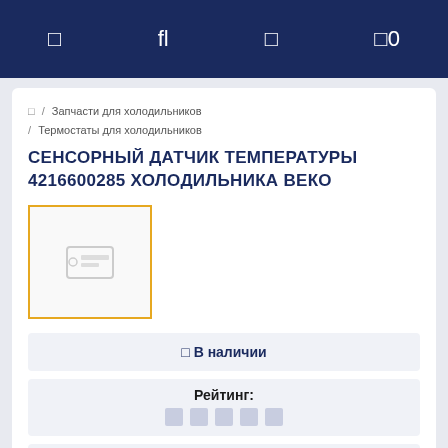□ fl □ □0
□ / Запчасти для холодильников / Термостаты для холодильников
СЕНСОРНЫЙ ДАТЧИК ТЕМПЕРАТУРЫ 4216600285 ХОЛОДИЛЬНИКА ВЕКО
[Figure (photo): Product image placeholder with orange border]
□ В наличии
Рейтинг:
□ Оставить отзыв